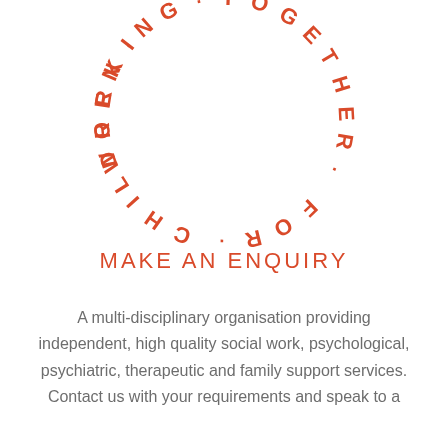[Figure (logo): Circular text logo reading 'WORKING TOGETHER FOR CHILDREN' arranged in a circle with dots as separators, in red/orange color]
MAKE AN ENQUIRY
A multi-disciplinary organisation providing independent, high quality social work, psychological, psychiatric, therapeutic and family support services. Contact us with your requirements and speak to a